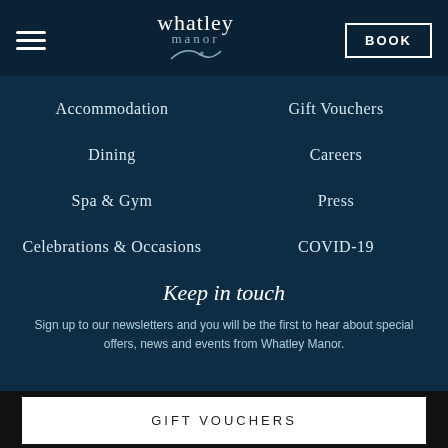[Figure (logo): Whatley Manor logo with script text and swirl graphic]
Accommodation
Gift Vouchers
Dining
Careers
Spa & Gym
Press
Celebrations & Occasions
COVID-19
Keep in touch
Sign up to our newsletters and you will be the first to hear about special offers, news and events from Whatley Manor.
GIFT VOUCHERS